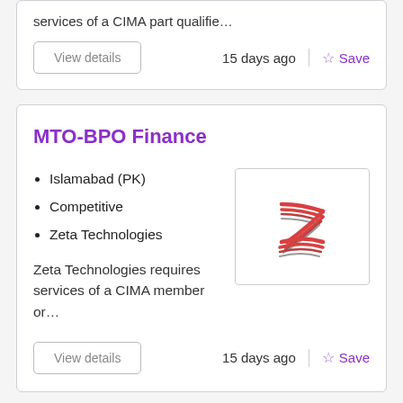services of a CIMA part qualifie…
View details
15 days ago
Save
MTO-BPO Finance
Islamabad (PK)
Competitive
Zeta Technologies
[Figure (logo): Zeta Technologies logo — stylized red and grey 'Z' shape made of parallel curved lines]
Zeta Technologies requires services of a CIMA member or…
View details
15 days ago
Save
Assistant Manager Implementation, Billing and Credit